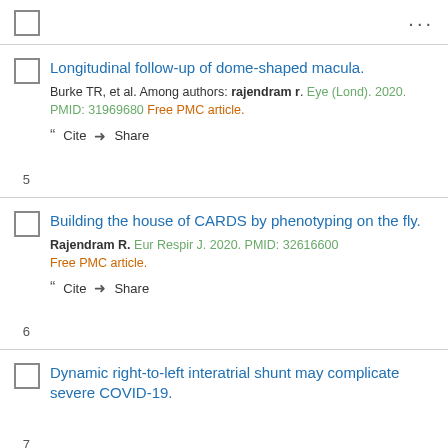...
5. Longitudinal follow-up of dome-shaped macula. Burke TR, et al. Among authors: rajendram r. Eye (Lond). 2020. PMID: 31969680 Free PMC article.
6. Building the house of CARDS by phenotyping on the fly. Rajendram R. Eur Respir J. 2020. PMID: 32616600 Free PMC article.
7. Dynamic right-to-left interatrial shunt may complicate severe COVID-19.